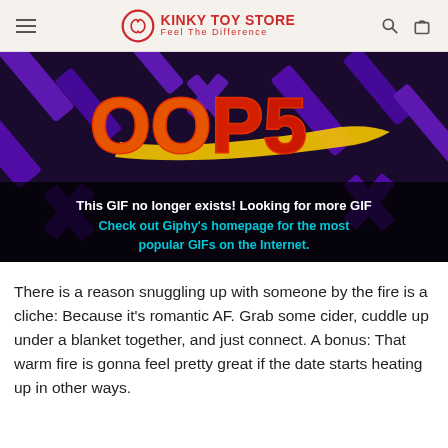KINKY TOY STORE Feel The Difference
[Figure (illustration): OOPS graphic from Giphy — dark background with purple geometric shapes, large orange/red 'OOPS' text, yellow brush stroke, white bold text 'This GIF no longer exists! Looking for more GIF' and cyan text 'Check out Giphy's homepage for the most popular GIFs on the Internet.']
There is a reason snuggling up with someone by the fire is a cliche: Because it’s romantic AF. Grab some cider, cuddle up under a blanket together, and just connect. A bonus: That warm fire is gonna feel pretty great if the date starts heating up in other ways.